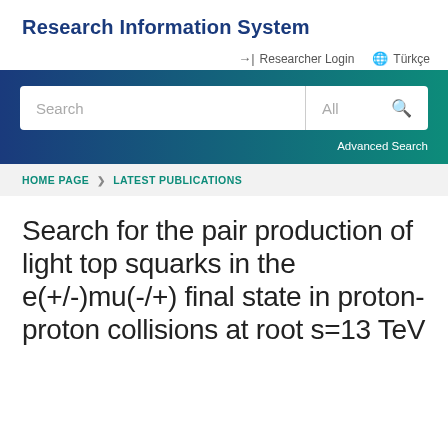Research Information System
Researcher Login   Türkçe
[Figure (screenshot): Search bar with 'Search' input field, 'All' dropdown, and search button on a dark blue-to-green gradient background, with Advanced Search link below]
HOME PAGE  ❯  LATEST PUBLICATIONS
Search for the pair production of light top squarks in the e(+/-)mu(-/+) final state in proton-proton collisions at root s=13 TeV